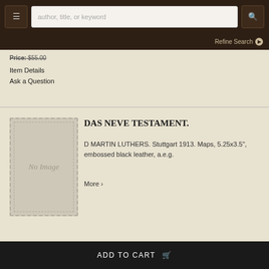author, title, or keyword | Refine Search
Price: $55.00
Item Details
Ask a Question
[Figure (illustration): No Image placeholder for book thumbnail]
DAS NEVE TESTAMENT.
D MARTIN LUTHERS. Stuttgart 1913. Maps, 5.25x3.5", embossed black leather, a.e.g.
More ›
ADD TO CART